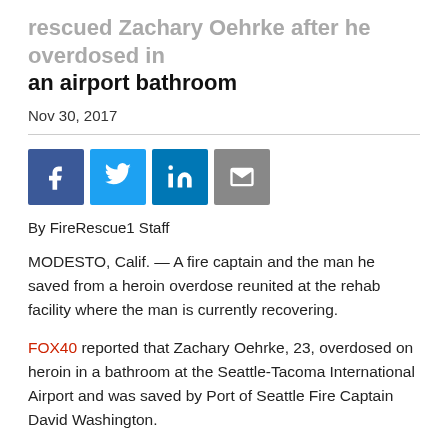rescued Zachary Oehrke after he overdosed in an airport bathroom
Nov 30, 2017
[Figure (other): Social media share icons: Facebook (blue), Twitter (light blue), LinkedIn (blue), Email (grey)]
By FireRescue1 Staff
MODESTO, Calif. — A fire captain and the man he saved from a heroin overdose reunited at the rehab facility where the man is currently recovering.
FOX40 reported that Zachary Oehrke, 23, overdosed on heroin in a bathroom at the Seattle-Tacoma International Airport and was saved by Port of Seattle Fire Captain David Washington.